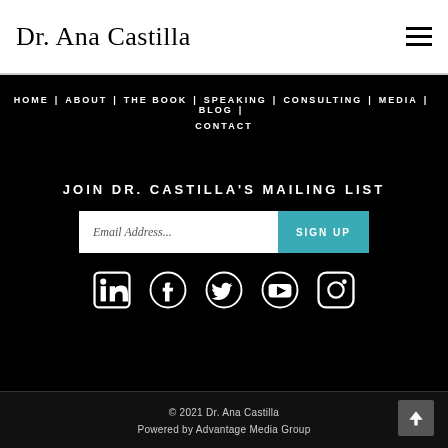Dr. Ana Castilla
HOME | ABOUT | THE BOOK | SPEAKING | CONSULTING | MEDIA | BLOG | CONTACT
JOIN DR. CASTILLA'S MAILING LIST
Email Address... SIGN UP
[Figure (infographic): Social media icons: LinkedIn, Facebook, Twitter, YouTube, Instagram]
© 2021 Dr. Ana Castilla
Powered by Advantage Media Group